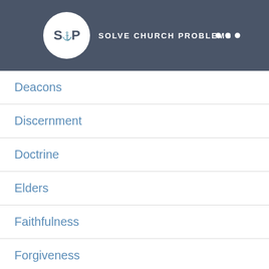SCP SOLVE CHURCH PROBLEMS
Deacons
Discernment
Doctrine
Elders
Faithfulness
Forgiveness
Friendship